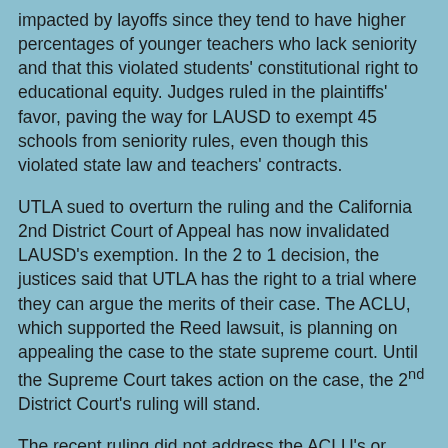impacted by layoffs since they tend to have higher percentages of younger teachers who lack seniority and that this violated students' constitutional right to educational equity. Judges ruled in the plaintiffs' favor, paving the way for LAUSD to exempt 45 schools from seniority rules, even though this violated state law and teachers' contracts.
UTLA sued to overturn the ruling and the California 2nd District Court of Appeal has now invalidated LAUSD's exemption. In the 2 to 1 decision, the justices said that UTLA has the right to a trial where they can argue the merits of their case. The ACLU, which supported the Reed lawsuit, is planning on appealing the case to the state supreme court. Until the Supreme Court takes action on the case, the 2nd District Court's ruling will stand.
The recent ruling did not address the ACLU's or Reed's argument that seniority violated students' constitutional rights, focusing instead on the fact that the Reed ruling violated existing state law on seniority rights during layoffs.
The argument that students' constitutional rights are violated